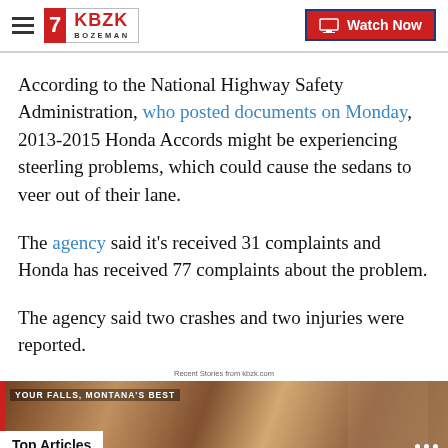KBZK Bozeman | Watch Now
According to the National Highway Safety Administration, who posted documents on Monday, 2013-2015 Honda Accords might be experiencing steerling problems, which could cause the sedans to veer out of their lane.
The agency said it's received 31 complaints and Honda has received 77 complaints about the problem.
The agency said two crashes and two injuries were reported.
Recent Stories from kbzk.com
[Figure (photo): Bottom thumbnail image with 'Top Articles' badge overlay]